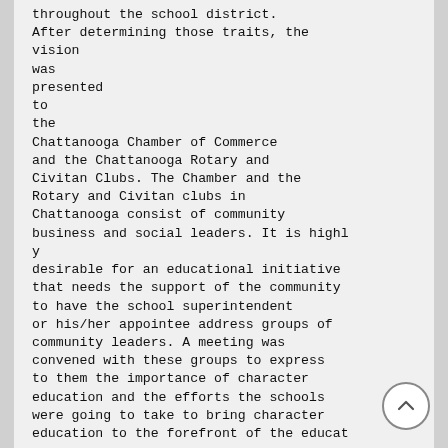throughout the school district. After determining those traits, the vision was presented to the Chattanooga Chamber of Commerce and the Chattanooga Rotary and Civitan Clubs. The Chamber and the Rotary and Civitan clubs in Chattanooga consist of community business and social leaders. It is highly desirable for an educational initiative that needs the support of the community to have the school superintendent or his/her appointee address groups of community leaders. A meeting was convened with these groups to express to them the importance of character education and the efforts the schools were going to take to bring character education to the forefront of the educat